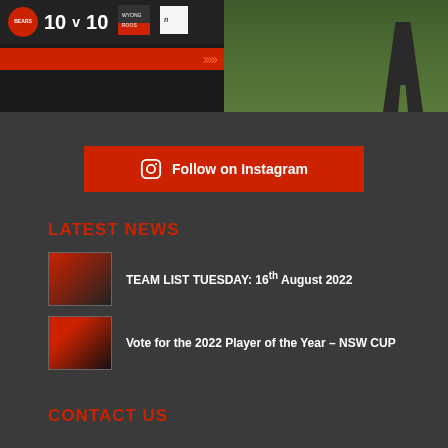[Figure (screenshot): Score graphic showing BEARS 10 v 10 with opponent logo and red bar with arrows, alongside a photo of a person standing on grass field]
[Figure (illustration): Follow on Instagram red button with Instagram icon]
LATEST NEWS
TEAM LIST TUESDAY: 16th August 2022
Vote for the 2022 Player of the Year – NSW CUP
CONTACT US